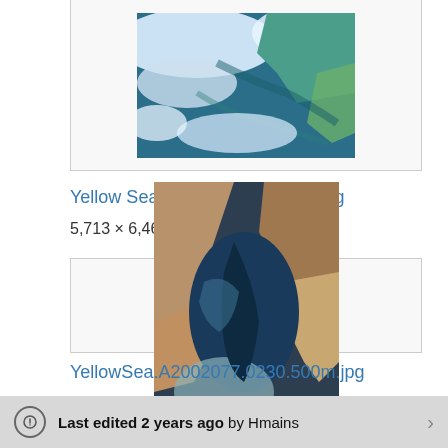[Figure (photo): Satellite image of the Yellow Sea area with green/blue ocean and white clouds, partially cropped at top of page]
Yellow Sea, February 24, 2015.jpg
5,713 × 6,461; 18.57 MB
[Figure (photo): Satellite image of the Yellow Sea showing dark blue water bodies surrounded by brown/tan landmasses]
YellowSea.A2002077.0230.500m.jpg
1,500 × 2,000; 370 KB
Last edited 2 years ago by Hmains